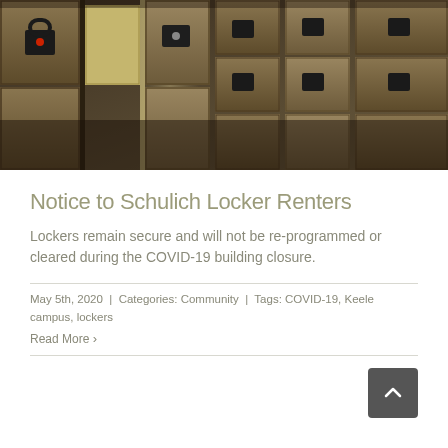[Figure (photo): Photograph of metal lockers in a dimly lit room, with electronic locks and partially open doors showing golden/bronze-toned lockers.]
Notice to Schulich Locker Renters
Lockers remain secure and will not be re-programmed or cleared during the COVID-19 building closure.
May 5th, 2020  |  Categories: Community  |  Tags: COVID-19, Keele campus, lockers
Read More >